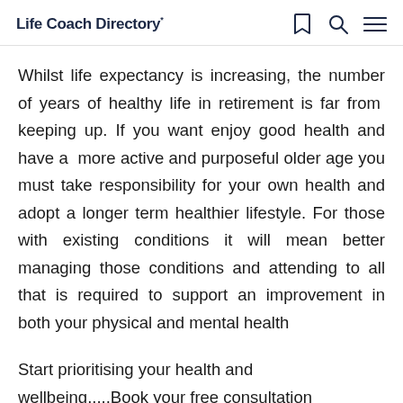Life Coach Directory
Whilst life expectancy is increasing, the number of years of healthy life in retirement is far from keeping up. If you want enjoy good health and have a more active and purposeful older age you must take responsibility for your own health and adopt a longer term healthier lifestyle. For those with existing conditions it will mean better managing those conditions and attending to all that is required to support an improvement in both your physical and mental health
Start prioritising your health and wellbeing.....Book your free consultation